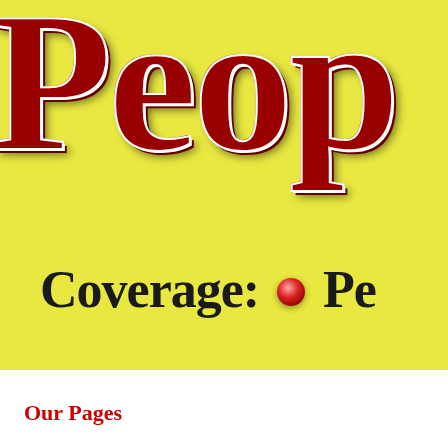[Figure (illustration): Yellow background section showing partial large red 3D embossed text reading 'Peop' (cropped), with 'Coverage:' and a red bullet point followed by 'Pe' (cropped) in bold black text below]
Our Pages